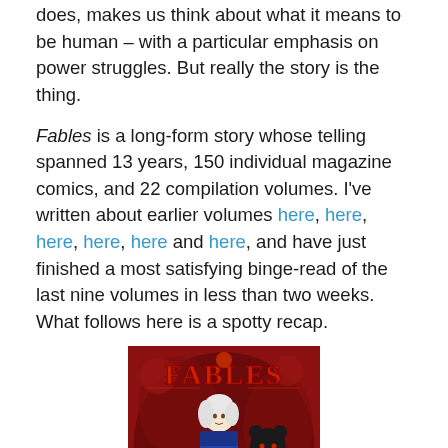does, makes us think about what it means to be human – with a particular emphasis on power struggles. But really the story is the thing.
Fables is a long-form story whose telling spanned 13 years, 150 individual magazine comics, and 22 compilation volumes. I've written about earlier volumes here, here, here, here, here and here, and have just finished a most satisfying binge-read of the last nine volumes in less than two weeks. What follows here is a spotty recap.
[Figure (photo): Book cover of Fables showing a white-haired woman in a blue outfit against a dark red background with the word FABLES in large letters and a dark creature beside her]